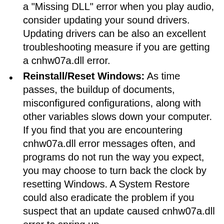(continuation) ...cnhw07a DLL error. Suppose, if you are getting a "Missing DLL" error when you play audio, consider updating your sound drivers. Updating drivers can be also an excellent troubleshooting measure if you are getting a cnhw07a.dll error.
Reinstall/Reset Windows: As time passes, the buildup of documents, misconfigured configurations, along with other variables slows down your computer. If you find that you are encountering cnhw07a.dll error messages often, and programs do not run the way you expect, you may choose to turn back the clock by resetting Windows. A System Restore could also eradicate the problem if you suspect that an update caused cnhw07a.dll error to spring up.
Repair Windows: Repairing Windows version is one step easier or less riskier than resetting or reinstalling Windows, that's why to solve cnhw07a.dll, you may first want to use Repair Windows wizard. Reset This PC option in Windows 10/8 is quite handy as it overwrites all important files, processes that tend to fix cnhw07a.dll